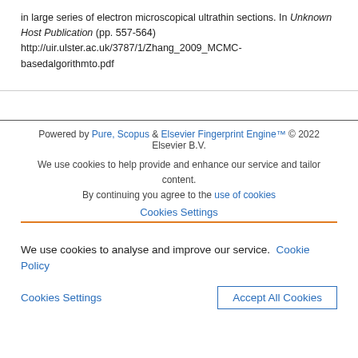in large series of electron microscopical ultrathin sections. In Unknown Host Publication (pp. 557-564) http://uir.ulster.ac.uk/3787/1/Zhang_2009_MCMC-basedalgorithmto.pdf
Powered by Pure, Scopus & Elsevier Fingerprint Engine™ © 2022 Elsevier B.V.
We use cookies to help provide and enhance our service and tailor content. By continuing you agree to the use of cookies
Cookies Settings
We use cookies to analyse and improve our service. Cookie Policy
Cookies Settings   Accept All Cookies